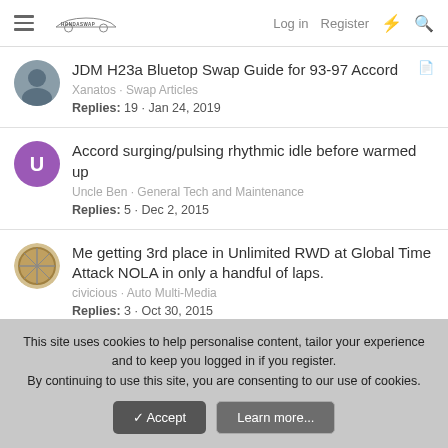HondaSwap — Log in · Register
JDM H23a Bluetop Swap Guide for 93-97 Accord
Xanatos · Swap Articles
Replies: 19 · Jan 24, 2019
Accord surging/pulsing rhythmic idle before warmed up
Uncle Ben · General Tech and Maintenance
Replies: 5 · Dec 2, 2015
Me getting 3rd place in Unlimited RWD at Global Time Attack NOLA in only a handful of laps.
civicious · Auto Multi-Media
Replies: 3 · Oct 30, 2015
This site uses cookies to help personalise content, tailor your experience and to keep you logged in if you register.
By continuing to use this site, you are consenting to our use of cookies.